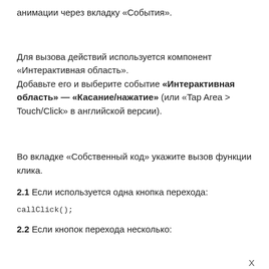анимации через вкладку «События».
Для вызова действий используется компонент «Интерактивная область».
Добавьте его и выберите событие «Интерактивная область» — «Касание/нажатие» (или «Tap Area > Touch/Click» в английской версии).
Во вкладке «Собственный код» укажите вызов функции клика.
2.1 Если используется одна кнопка перехода:
callClick();
2.2 Если кнопок перехода несколько: